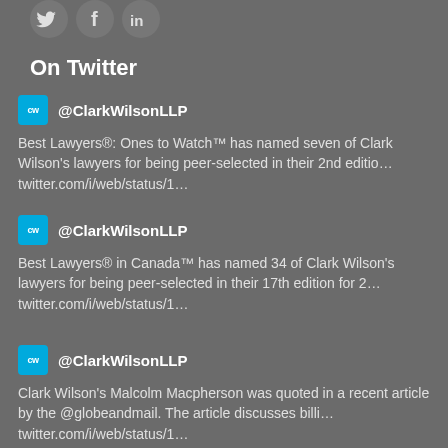[Figure (illustration): Social media icons: Twitter bird, Facebook f, LinkedIn in — white on dark circular backgrounds]
On Twitter
@ClarkWilsonLLP
Best Lawyers®: Ones to Watch™ has named seven of Clark Wilson's lawyers for being peer-selected in their 2nd editio… twitter.com/i/web/status/1…
@ClarkWilsonLLP
Best Lawyers® in Canada™ has named 34 of Clark Wilson's lawyers for being peer-selected in their 17th edition for 2… twitter.com/i/web/status/1…
@ClarkWilsonLLP
Clark Wilson's Malcolm Macpherson was quoted in a recent article by the @globeandmail. The article discusses billi… twitter.com/i/web/status/1…